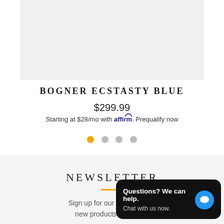[Figure (photo): Product image area with light gray background (top portion of page, partially cropped)]
BOGNER ECSTASTY BLUE
$299.99
Starting at $28/mo with affirm. Prequalify now
[Figure (other): Carousel navigation dots: one active yellow dot and three inactive gray dots]
NEWSLETTER
Sign up for our newsletter to receive updates on new products and deals
[Figure (other): Chat widget overlay: 'Questions? We can help. Chat with us now.' with blue chat bubble icon on dark background]